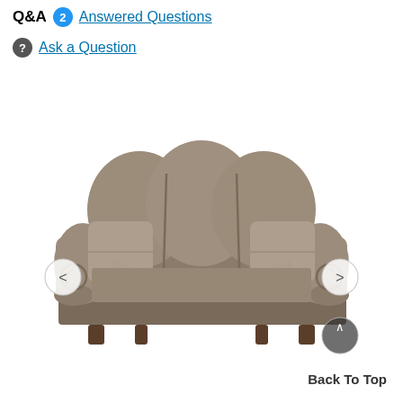Q&A  2  Answered Questions
Ask a Question
[Figure (photo): A large brown/taupe three-cushion upholstered sofa with rolled arms, button-tufted back cushions, throw pillows on each side, and dark wooden legs. The sofa is photographed on a white background. Left and right navigation arrows are visible on the sides of the image, and a scroll-up button appears at the bottom right.]
Back To Top